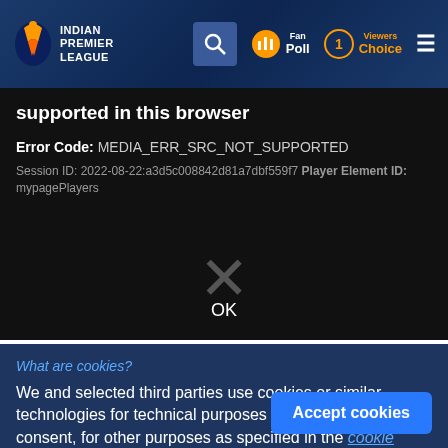INDIAN PREMIER LEAGUE
supported in this browser
Error Code: MEDIA_ERR_SRC_NOT_SUPPORTED
Session ID: 2022-08-22:a3d5c008842d81a7dbf559f7 Player Element ID: mypagePlayers
OK
What are cookies?
We and selected third parties use cookies or similar technologies for technical purposes and, with your consent, for other purposes as specified in the cookie policy.
Accept cookies